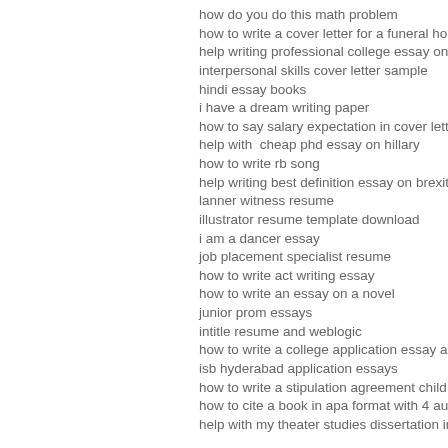how do you do this math problem
how to write a cover letter for a funeral home
help writing professional college essay on presid
interpersonal skills cover letter sample
hindi essay books
i have a dream writing paper
how to say salary expectation in cover letter
help with  cheap phd essay on hillary
how to write rb song
help writing best definition essay on brexit
lanner witness resume
illustrator resume template download
i am a dancer essay
job placement specialist resume
how to write act writing essay
how to write an essay on a novel
junior prom essays
intitle resume and weblogic
how to write a college application essay about yo
isb hyderabad application essays
how to write a stipulation agreement child suppo
how to cite a book in apa format with 4 authors
help with my theater studies dissertation introduc